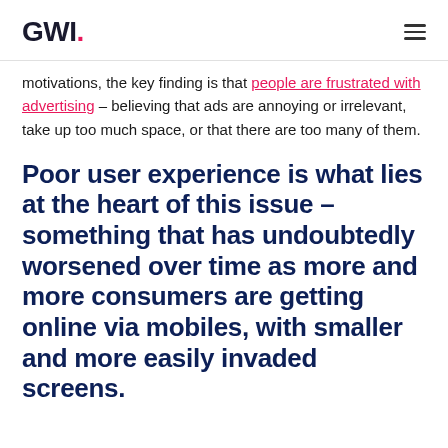GWI.
motivations, the key finding is that people are frustrated with advertising – believing that ads are annoying or irrelevant, take up too much space, or that there are too many of them.
Poor user experience is what lies at the heart of this issue – something that has undoubtedly worsened over time as more and more consumers are getting online via mobiles, with smaller and more easily invaded screens.